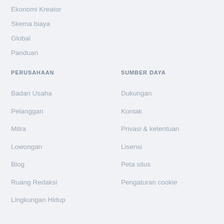Ekonomi Kreator
Skema biaya
Global
Panduan
PERUSAHAAN
SUMBER DAYA
Badan Usaha
Dukungan
Pelanggan
Kontak
Mitra
Privasi & ketentuan
Lowongan
Lisensi
Blog
Peta situs
Ruang Redaksi
Pengaturan cookie
Lingkungan Hidup